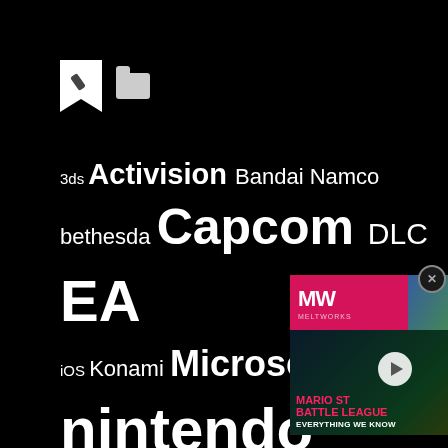[Figure (infographic): Tag cloud with gaming-related keywords in varying font sizes on black background]
Your home for all your videogame podcast, news: we've got the lot: Switch, PS4, Xbox, PC Gaming!
[Figure (screenshot): Video thumbnail for Mario Strikers: Battle League - Everything We Know, with Mighty Wireless branding]